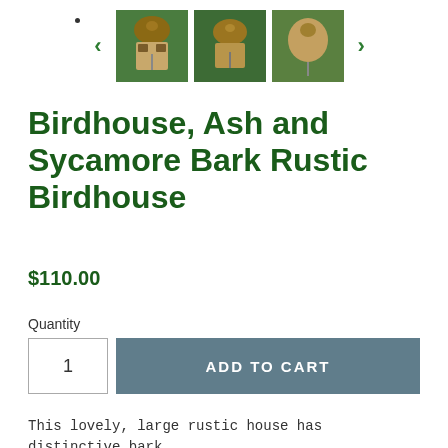[Figure (photo): Thumbnail gallery carousel showing three small photos of a rustic birdhouse made from bark, with left and right navigation arrows and a dot indicator above]
Birdhouse, Ash and Sycamore Bark Rustic Birdhouse
$110.00
Quantity
1  ADD TO CART
This lovely, large rustic house has distinctive bark